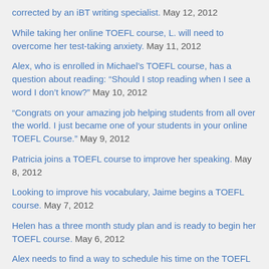corrected by an iBT writing specialist. May 12, 2012
While taking her online TOEFL course, L. will need to overcome her test-taking anxiety. May 11, 2012
Alex, who is enrolled in Michael’s TOEFL course, has a question about reading: “Should I stop reading when I see a word I don’t know?” May 10, 2012
“Congrats on your amazing job helping students from all over the world. I just became one of your students in your online TOEFL Course.” May 9, 2012
Patricia joins a TOEFL course to improve her speaking. May 8, 2012
Looking to improve his vocabulary, Jaime begins a TOEFL course. May 7, 2012
Helen has a three month study plan and is ready to begin her TOEFL course. May 6, 2012
Alex needs to find a way to schedule his time on the TOEFL course...